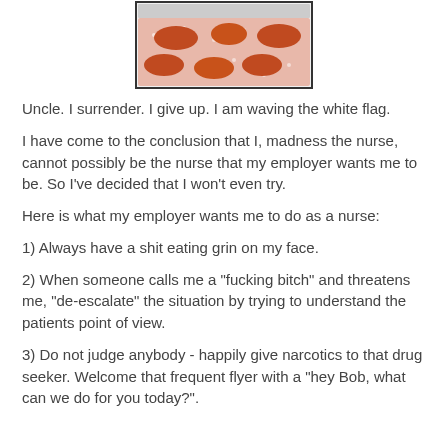[Figure (illustration): A hand-drawn style illustration of a petri dish or container viewed from above, showing a pinkish/salmon colored background with several dark orange/red oval shapes (cells or bacteria) of varying sizes scattered across it, with small white dots. The container has a dark border outline.]
Uncle. I surrender. I give up. I am waving the white flag.
I have come to the conclusion that I, madness the nurse, cannot possibly be the nurse that my employer wants me to be. So I've decided that I won't even try.
Here is what my employer wants me to do as a nurse:
1) Always have a shit eating grin on my face.
2) When someone calls me a "fucking bitch" and threatens me, "de-escalate" the situation by trying to understand the patients point of view.
3) Do not judge anybody - happily give narcotics to that drug seeker. Welcome that frequent flyer with a "hey Bob, what can we do for you today?".